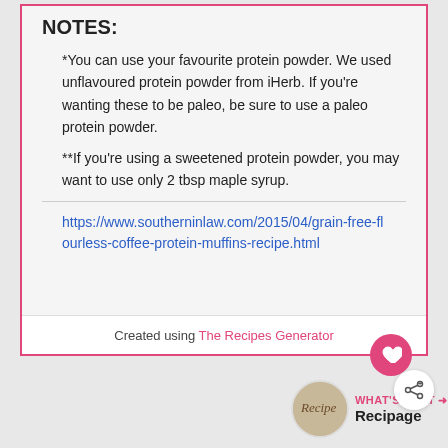NOTES:
*You can use your favourite protein powder. We used unflavoured protein powder from iHerb. If you're wanting these to be paleo, be sure to use a paleo protein powder.
**If you're using a sweetened protein powder, you may want to use only 2 tbsp maple syrup.
https://www.southerninlaw.com/2015/04/grain-free-flourless-coffee-protein-muffins-recipe.html
Created using The Recipes Generator
WHAT'S NEXT → Recipage